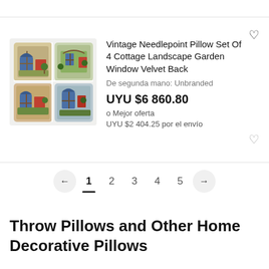[Figure (photo): Product listing photo showing four needlepoint pillows with cottage landscape/garden window design]
Vintage Needlepoint Pillow Set Of 4 Cottage Landscape Garden Window Velvet Back
De segunda mano: Unbranded
UYU $6 860.80
o Mejor oferta
UYU $2 404.25 por el envío
← 1 2 3 4 5 →
Throw Pillows and Other Home Decorative Pillows